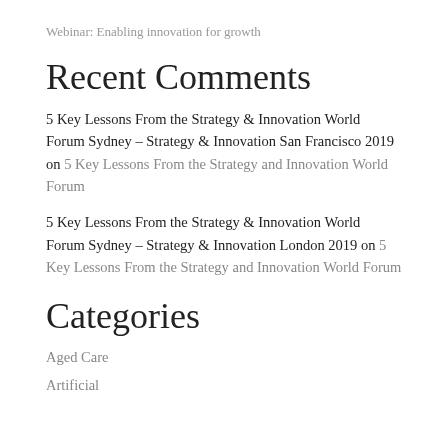Webinar: Enabling innovation for growth
Recent Comments
5 Key Lessons From the Strategy & Innovation World Forum Sydney – Strategy & Innovation San Francisco 2019 on 5 Key Lessons From the Strategy and Innovation World Forum
5 Key Lessons From the Strategy & Innovation World Forum Sydney – Strategy & Innovation London 2019 on 5 Key Lessons From the Strategy and Innovation World Forum
Categories
Aged Care
Artificial